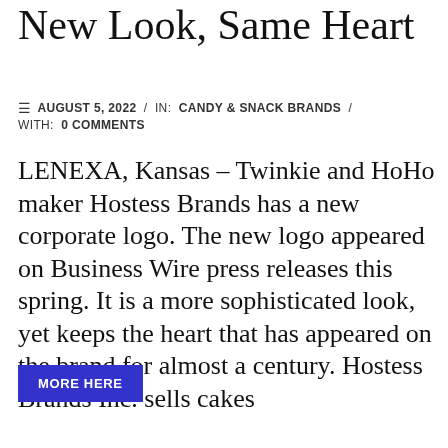New Look, Same Heart
≡  AUGUST 5, 2022  /  IN:  CANDY & SNACK BRANDS  /  WITH:  0 COMMENTS
LENEXA, Kansas – Twinkie and HoHo maker Hostess Brands has a new corporate logo. The new logo appeared on Business Wire press releases this spring. It is a more sophisticated look, yet keeps the heart that has appeared on the brand for almost a century. Hostess Brands Inc. sells cakes
MORE HERE